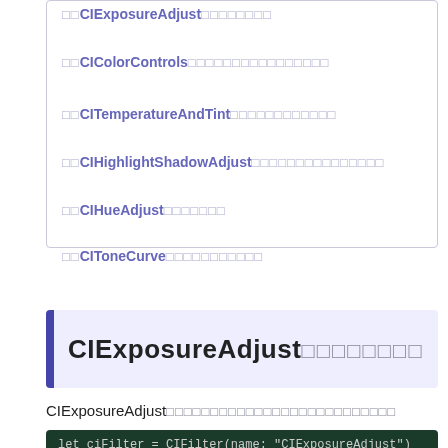□□CIExposureAdjust□□□□□□□□
□□CIColorControls□□□□□□□□□□□□□□□□
□□CITemperatureAndTint□□□□□□□□□□□□
□□CIHighlightShadowAdjust□□□□□□□□□□□□□□□
□□CIHueAdjust□□□□□□□
□□CIToneCurve□□□□□□□□□□□
CIExposureAdjust□□□□□□□□
CIExposureAdjust□□□□□□□□□□□□□□□□□□□□□□□
let ciFilter = CIFilter(name: "CIExposureAdjust")